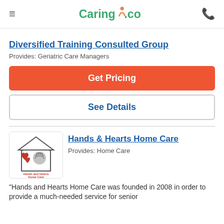Caring.com
Diversified Training Consulted Group
Provides: Geriatric Care Managers
Get Pricing
See Details
[Figure (logo): Hands and Hearts Home Care logo — red hearts and a house outline with the text 'Hands and Hearts Home Care']
Hands & Hearts Home Care
Provides: Home Care
"Hands and Hearts Home Care was founded in 2008 in order to provide a much-needed service for senior